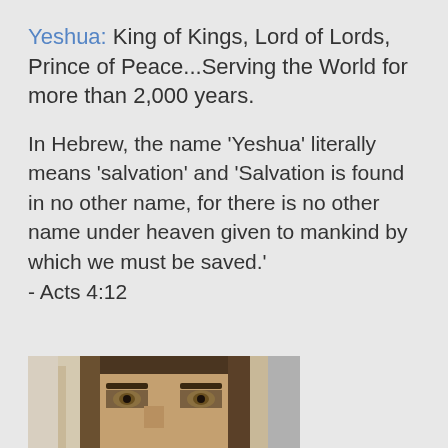Yeshua: King of Kings, Lord of Lords, Prince of Peace...Serving the World for more than 2,000 years.
In Hebrew, the name 'Yeshua' literally means 'salvation' and 'Salvation is found in no other name, for there is no other name under heaven given to mankind by which we must be saved.' - Acts 4:12
[Figure (photo): Close-up photo of a man with long dark hair and hazel/amber eyes, wearing a textured garment resembling a robe, appearing to depict a portrayal of Jesus/Yeshua]